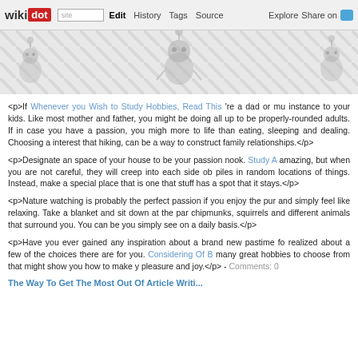wikidot | site Edit History Tags Source Explore Share on Twitter
[Figure (illustration): Decorative banner with diagonal striped background and cartoon robot/alien figures in light gray]
<p>If Whenever you Wish to Study Hobbies, Read This 're a dad or mu instance to your kids. Like most mother and father, you might be doing all up to be properly-rounded adults. If in case you have a passion, you migh more to life than eating, sleeping and dealing. Choosing a interest that hiking, can be a way to construct family relationships.</p>
<p>Designate an space of your house to be your passion nook. Study A amazing, but when you are not careful, they will creep into each side ob piles in random locations of things. Instead, make a special place that is one that stuff has a spot that it stays.</p>
<p>Nature watching is probably the perfect passion if you enjoy the pur and simply feel like relaxing. Take a blanket and sit down at the par chipmunks, squirrels and different animals that surround you. You can be you simply see on a daily basis.</p>
<p>Have you ever gained any inspiration about a brand new pastime fo realized about a few of the choices there are for you. Considering Of B many great hobbies to choose from that might show you how to make y pleasure and joy.</p> - Comments: 0
The Way To Get The Most Out Of Article Writi...